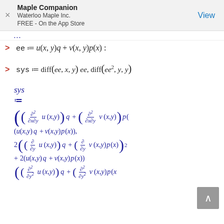Maple Companion
Waterloo Maple Inc.
FREE - On the App Store